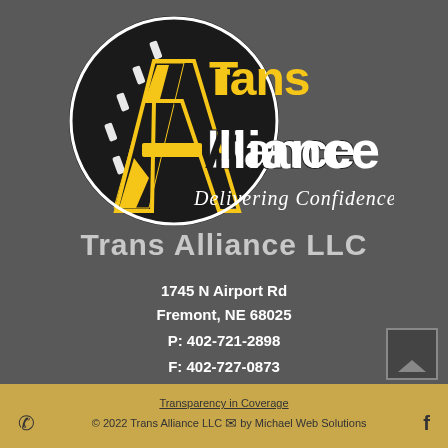[Figure (logo): Trans Alliance logo: black circle with a large stylized 'A' shape in road/highway design, yellow dashes, white letter outlines. Text 'Trans' in yellow block letters and 'Alliance' in bold black letters. Script text 'Delivering Confidence' in white cursive below.]
Trans Alliance LLC
1745 N Airport Rd
Fremont, NE 68025
P: 402-721-2898
F: 402-727-0873
Transparency in Coverage
© 2022 Trans Alliance LLC by Michael Web Solutions